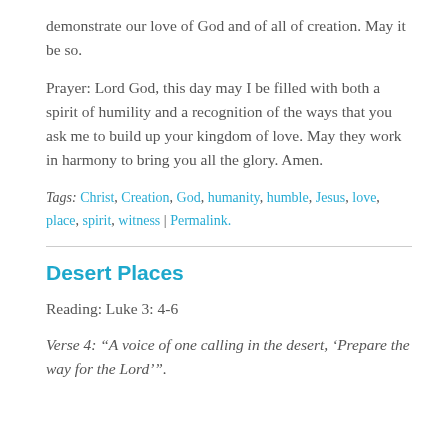demonstrate our love of God and of all of creation. May it be so.
Prayer: Lord God, this day may I be filled with both a spirit of humility and a recognition of the ways that you ask me to build up your kingdom of love. May they work in harmony to bring you all the glory. Amen.
Tags: Christ, Creation, God, humanity, humble, Jesus, love, place, spirit, witness | Permalink.
Desert Places
Reading: Luke 3: 4-6
Verse 4: “A voice of one calling in the desert, ‘Prepare the way for the Lord’”.